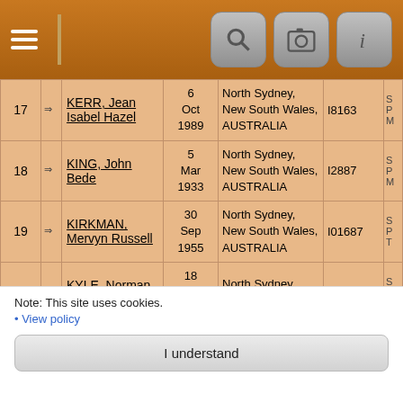Navigation bar with hamburger menu and icons
| # |  | Name | Date | Place | ID |  |
| --- | --- | --- | --- | --- | --- | --- |
| 17 | ⇒ | KERR, Jean Isabel Hazel | 6 Oct 1989 | North Sydney, New South Wales, AUSTRALIA | I8163 |  |
| 18 | ⇒ | KING, John Bede | 5 Mar 1933 | North Sydney, New South Wales, AUSTRALIA | I2887 |  |
| 19 | ⇒ | KIRKMAN, Mervyn Russell | 30 Sep 1955 | North Sydney, New South Wales, AUSTRALIA | I01687 |  |
| 20 | ⇒ | KYLE, Norman Clanan | 18 Jan 1960 | North Sydney, New South Wales, ... | I05980 |  |
Note: This site uses cookies.
• View policy
I understand